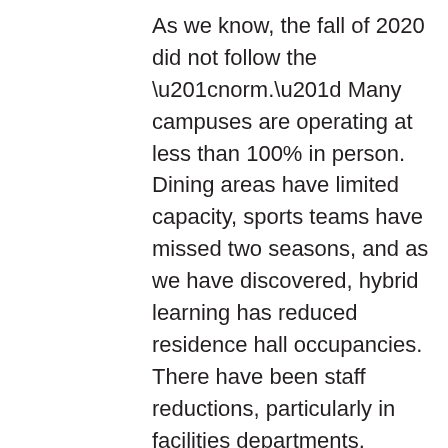As we know, the fall of 2020 did not follow the “norm.” Many campuses are operating at less than 100% in person. Dining areas have limited capacity, sports teams have missed two seasons, and as we have discovered, hybrid learning has reduced residence hall occupancies. There have been staff reductions, particularly in facilities departments. These changes are challenges. How will we make progress with such radical adjustments to deal with? Competition is stiff for incoming classes. Campuses are engaging their entire community to recruit and retain students with vigor. Facilities managers are at the forefront, leading with agility in a volatile environment. Members are seizing every opportunity to learn from their peers, business partners, and professional associations. These relationships are contributing to a new beginning for some